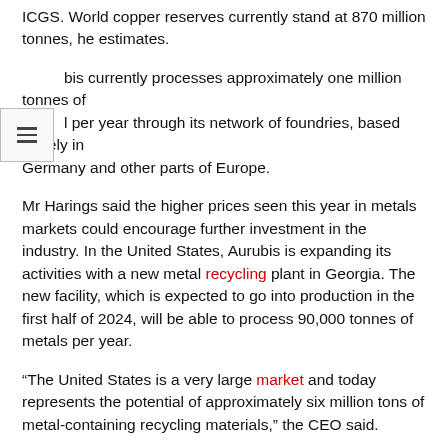ICGS. World copper reserves currently stand at 870 million tonnes, he estimates.
bis currently processes approximately one million tonnes of l per year through its network of foundries, based largely in Germany and other parts of Europe.
Mr Harings said the higher prices seen this year in metals markets could encourage further investment in the industry. In the United States, Aurubis is expanding its activities with a new metal recycling plant in Georgia. The new facility, which is expected to go into production in the first half of 2024, will be able to process 90,000 tonnes of metals per year.
“The United States is a very large market and today represents the potential of approximately six million tons of metal-containing recycling materials,” the CEO said.
He added that the company was looking at black mass recycling –